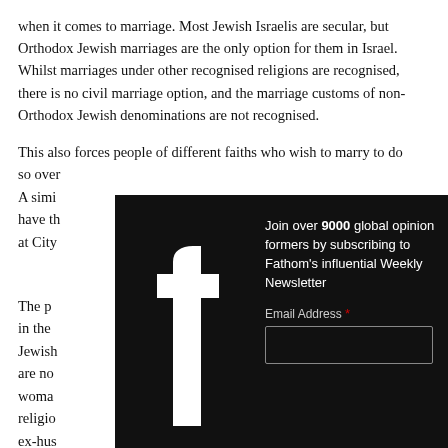when it comes to marriage. Most Jewish Israelis are secular, but Orthodox Jewish marriages are the only option for them in Israel. Whilst marriages under other recognised religions are recognised, there is no civil marriage option, and the marriage customs of non-Orthodox Jewish denominations are not recognised.
This also forces people of different faiths who wish to marry to do so over... A simi... have th... at City...
The pr... in the... Jewish... are not... woman... religio... ex-hus...
[Figure (screenshot): Dark overlay popup with Facebook logo on left, newsletter signup on right. Text reads: Join over 9000 global opinion formers by subscribing to Fathom's influential Weekly Newsletter. Email Address field with close X button.]